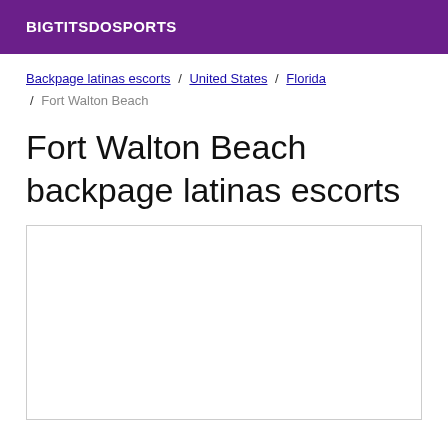BIGTITSDOSPORTS
Backpage latinas escorts / United States / Florida / Fort Walton Beach
Fort Walton Beach backpage latinas escorts
[Figure (other): Empty white advertisement box with light gray border]